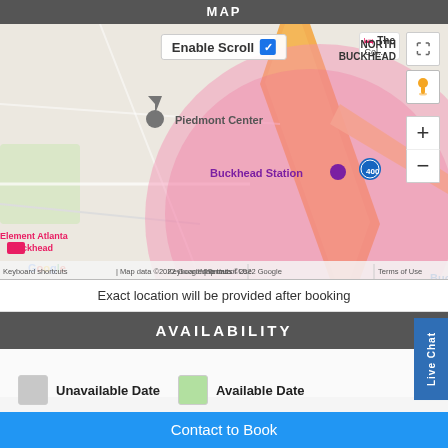MAP
[Figure (map): Google Map showing Buckhead area in Atlanta with a pink circular overlay. Landmarks include Piedmont Center, Buckhead Station, Element Atlanta Buckhead, Candytopia Atlanta, Lenox Mall, Lenox Square, Grand Hyatt Atlanta. Roads include Stratford Rd NE. Map data ©2022 Google. Has Enable Scroll checkbox and map controls (+/-/fullscreen).]
Exact location will be provided after booking
AVAILABILITY
Unavailable Date    Available Date
Contact to Book